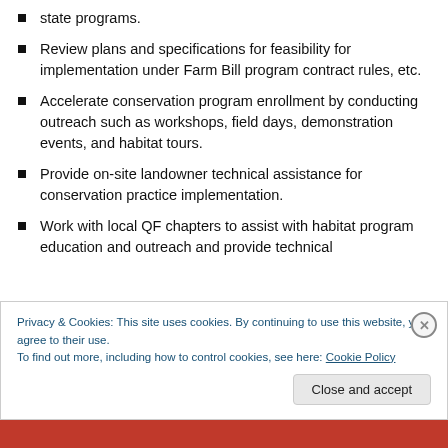state programs.
Review plans and specifications for feasibility for implementation under Farm Bill program contract rules, etc.
Accelerate conservation program enrollment by conducting outreach such as workshops, field days, demonstration events, and habitat tours.
Provide on-site landowner technical assistance for conservation practice implementation.
Work with local QF chapters to assist with habitat program education and outreach and provide technical
Privacy & Cookies: This site uses cookies. By continuing to use this website, you agree to their use.
To find out more, including how to control cookies, see here: Cookie Policy
Close and accept